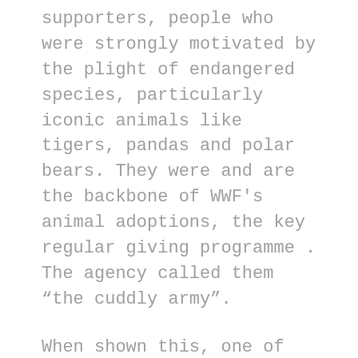supporters, people who were strongly motivated by the plight of endangered species, particularly iconic animals like tigers, pandas and polar bears. They were and are the backbone of WWF's animal adoptions, the key regular giving programme . The agency called them “the cuddly army”.
When shown this, one of the committee members said “do we seriously give our supporters such demeaning names? How do you think they would feel they knew that?”
To which the answers were of course, yes and possibly quite peeved. We hadn't thought.
The same committee member, a man of some wisdom, later on in the same meeting observed “it